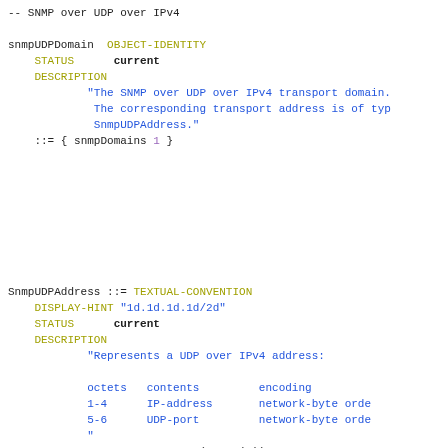-- SNMP over UDP over IPv4
snmpUDPDomain OBJECT-IDENTITY
    STATUS      current
    DESCRIPTION
            "The SNMP over UDP over IPv4 transport domain.
            The corresponding transport address is of type
            SnmpUDPAddress."
    ::= { snmpDomains 1 }
SnmpUDPAddress ::= TEXTUAL-CONVENTION
    DISPLAY-HINT "1d.1d.1d.1d/2d"
    STATUS      current
    DESCRIPTION
            "Represents a UDP over IPv4 address:

            octets   contents         encoding
            1-4      IP-address       network-byte order
            5-6      UDP-port         network-byte order
            "
    SYNTAX      OCTET STRING (SIZE (6))